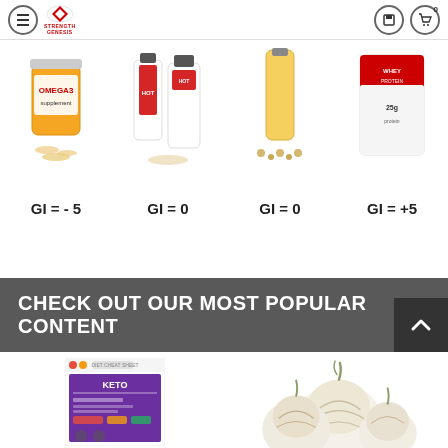Strength Genesis navigation header with menu, logo, home, and cart buttons
[Figure (photo): Four product images in a row: Omega-3 supplement container, two hot sauce bottles, oil with grains, and whey protein pouch]
GI = - 5    GI = 0    GI = 0    GI = +5
CHECK OUT OUR MOST POPULAR CONTENT
[Figure (photo): Keto diet cheat sheet document thumbnail]
[Figure (photo): Garlic bulbs photo]